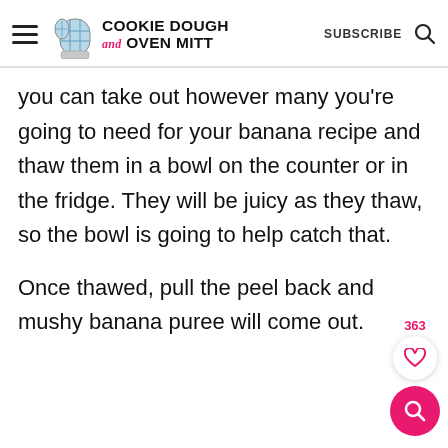Cookie Dough and Oven Mitt | SUBSCRIBE
you can take out however many you're going to need for your banana recipe and thaw them in a bowl on the counter or in the fridge. They will be juicy as they thaw, so the bowl is going to help catch that.
Once thawed, pull the peel back and mushy banana puree will come out.